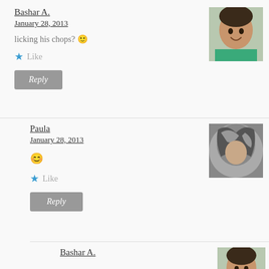Bashar A.
January 28, 2013
licking his chops? 🙂
★ Like
Reply
Paula
January 28, 2013
😊
★ Like
Reply
Bashar A.